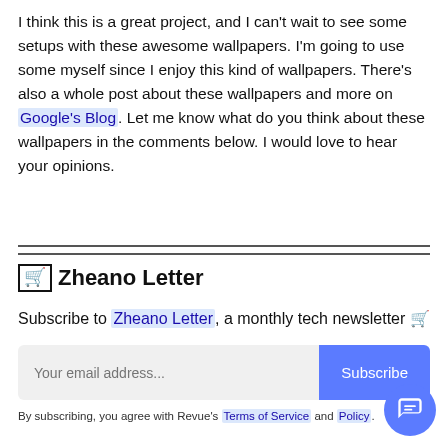I think this is a great project, and I can't wait to see some setups with these awesome wallpapers. I'm going to use some myself since I enjoy this kind of wallpapers. There's also a whole post about these wallpapers and more on Google's Blog. Let me know what do you think about these wallpapers in the comments below. I would love to hear your opinions.
🛒 Zheano Letter
Subscribe to Zheano Letter, a monthly tech newsletter 🛒
Your email address...
Subscribe
By subscribing, you agree with Revue's Terms of Service and Policy.